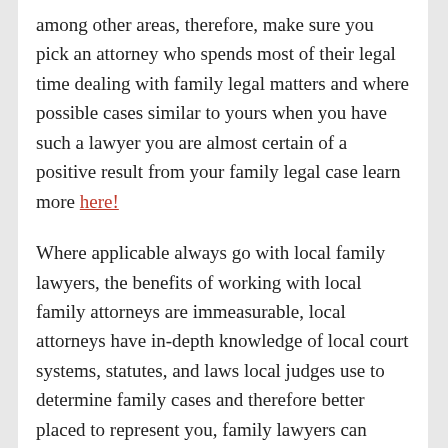among other areas, therefore, make sure you pick an attorney who spends most of their legal time dealing with family legal matters and where possible cases similar to yours when you have such a lawyer you are almost certain of a positive result from your family legal case learn more here!
Where applicable always go with local family lawyers, the benefits of working with local family attorneys are immeasurable, local attorneys have in-depth knowledge of local court systems, statutes, and laws local judges use to determine family cases and therefore better placed to represent you, family lawyers can therefore predict the ruling of the court